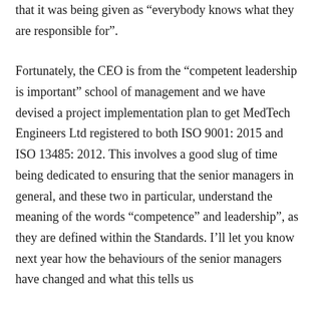that it was being given as “everybody knows what they are responsible for”.
Fortunately, the CEO is from the “competent leadership is important” school of management and we have devised a project implementation plan to get MedTech Engineers Ltd registered to both ISO 9001: 2015 and ISO 13485: 2012. This involves a good slug of time being dedicated to ensuring that the senior managers in general, and these two in particular, understand the meaning of the words “competence” and leadership”, as they are defined within the Standards. I’ll let you know next year how the behaviours of the senior managers have changed and what this tells us